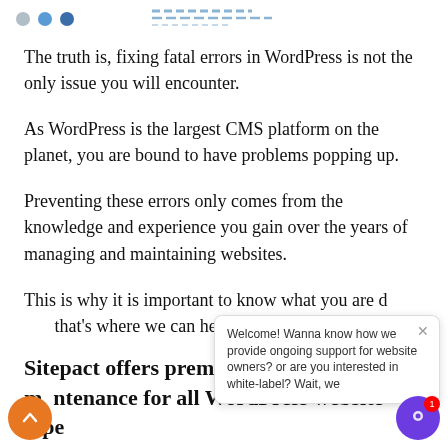Navigation dots and decorative lines
The truth is, fixing fatal errors in WordPress is not the only issue you will encounter.
As WordPress is the largest CMS platform on the planet, you are bound to have problems popping up.
Preventing these errors only comes from the knowledge and experience you gain over the years of managing and maintaining websites.
This is why it is important to know what you are doing, and that’s where we can help.
Sitepact offers premium site care and maintenance for all WordPress website types